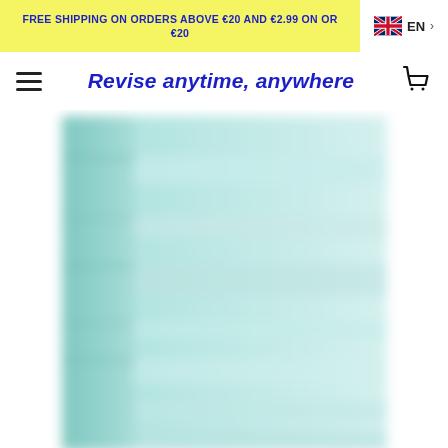FREE SHIPPING ON ORDERS ABOVE €20 AND €2.99 ON ORDERS BELOW €20
Revise anytime, anywhere
[Figure (photo): A blurred photo of a light teal/mint colored revision guide or notebook with horizontal stripe sections, shown in a close-up product shot against a white background.]